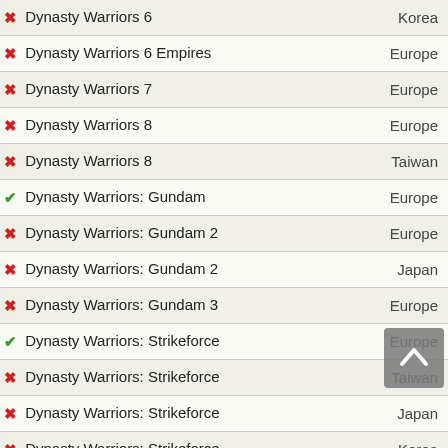| Game | Region |
| --- | --- |
| ✗ Dynasty Warriors 6 | Korea |
| ✗ Dynasty Warriors 6 Empires | Europe |
| ✗ Dynasty Warriors 7 | Europe |
| ✗ Dynasty Warriors 8 | Europe |
| ✗ Dynasty Warriors 8 | Taiwan |
| ✓ Dynasty Warriors: Gundam | Europe |
| ✗ Dynasty Warriors: Gundam 2 | Europe |
| ✗ Dynasty Warriors: Gundam 2 | Japan |
| ✗ Dynasty Warriors: Gundam 3 | Europe |
| ✓ Dynasty Warriors: Strikeforce | Europe |
| ✗ Dynasty Warriors: Strikeforce | Taiwan |
| ✗ Dynasty Warriors: Strikeforce | Japan |
| ✗ Dynasty Warriors: Strikeforce | Korea |
| ✓ EA SPORTS Active 2 | Europe |
| ✓ EA SPORTS MMA | Europe |